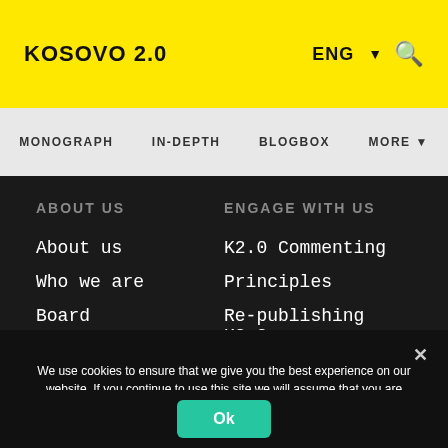KOSOVO 2.0
MONOGRAPH
IN-DEPTH
BLOGBOX
MORE
ABOUT US
About us
Who we are
Board
Donors
ENGAGE WITH US
K2.0 Commenting
Principles
Re-publishing K2.0 Content
Work with us
We use cookies to ensure that we give you the best experience on our website. If you continue to use this site we will assume that you are happy with it.
Ok